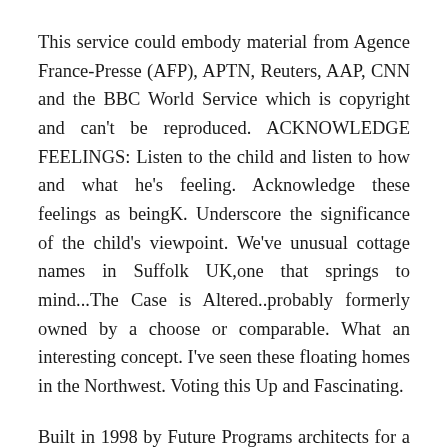This service could embody material from Agence France-Presse (AFP), APTN, Reuters, AAP, CNN and the BBC World Service which is copyright and can't be reproduced. ACKNOWLEDGE FEELINGS: Listen to the child and listen to how and what he's feeling. Acknowledge these feelings as beingK. Underscore the significance of the child's viewpoint. We've unusual cottage names in Suffolk UK,one that springs to mind...The Case is Altered..probably formerly owned by a choose or comparable. What an interesting concept. I've seen these floating homes in the Northwest. Voting this Up and Fascinating.
Built in 1998 by Future Programs architects for a Member of Parliament (Bob ...